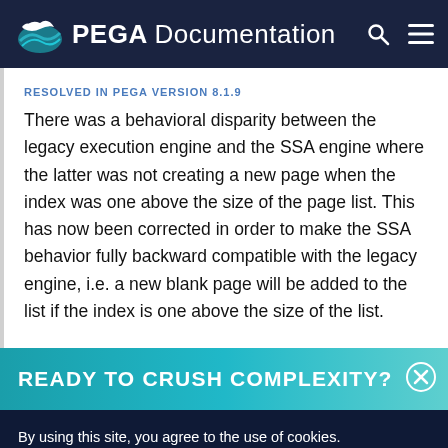PEGA Documentation
RESOLVED IN PEGA VERSION 8.1.9
There was a behavioral disparity between the legacy execution engine and the SSA engine where the latter was not creating a new page when the index was one above the size of the page list. This has now been corrected in order to make the SSA behavior fully backward compatible with the legacy engine, i.e. a new blank page will be added to the list if the index is one above the size of the list.
[Figure (infographic): Teal promotional banner reading READY TO CRUSH COMPLEXITY? with a close (X) button on the right]
By using this site, you agree to the use of cookies.
Read our Privacy Policy
Accept and continue   About cookies